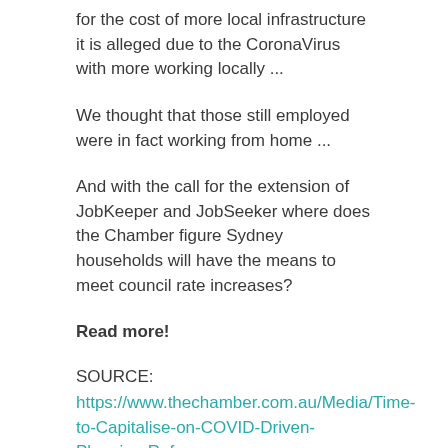for the cost of more local infrastructure it is alleged due to the CoronaVirus with more working locally ...
We thought that those still employed were in fact working from home ...
And with the call for the extension of JobKeeper and JobSeeker where does the Chamber figure Sydney households will have the means to meet council rate increases?
Read more!
SOURCE:
https://www.thechamber.com.au/Media/Time-to-Capitalise-on-COVID-Driven-Planning-Reform